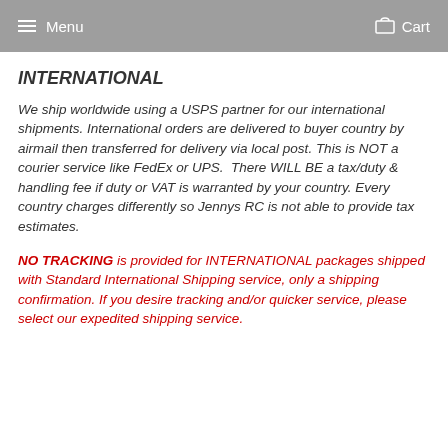Menu  Cart
INTERNATIONAL
We ship worldwide using a USPS partner for our international shipments. International orders are delivered to buyer country by airmail then transferred for delivery via local post. This is NOT a courier service like FedEx or UPS.  There WILL BE a tax/duty & handling fee if duty or VAT is warranted by your country. Every country charges differently so Jennys RC is not able to provide tax estimates.
NO TRACKING is provided for INTERNATIONAL packages shipped with Standard International Shipping service, only a shipping confirmation. If you desire tracking and/or quicker service, please select our expedited shipping service.